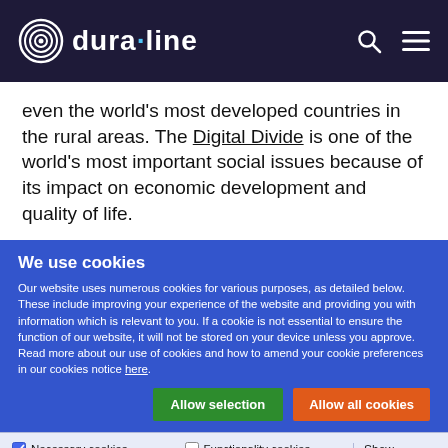dura·line
even the world's most developed countries in the rural areas. The Digital Divide is one of the world's most important social issues because of its impact on economic development and quality of life.
We use cookies
Our website uses numerous cookies for various purposes, as detailed below. These include improving your experience of the website and providing you with information which is relevant to you. If a cookie is not essential to ensure the function of our website, it will not be stored on your device unless you approve. Read more about our use of cookies and how to amend your cookie preferences in our cookies notice here.
Allow selection | Allow all cookies
Necessary cookies | Functionality cookies | Web analytics | Targeting cookies | Show details